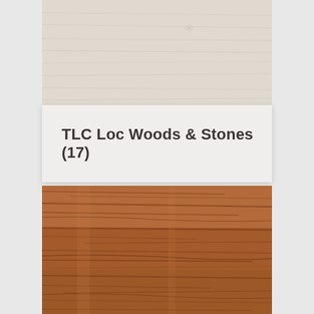[Figure (photo): Light-colored wood grain flooring texture, pale cream/beige tones]
TLC Loc Woods & Stones (17)
[Figure (photo): Warm brown wood grain flooring texture with visible wood grain lines and knots]